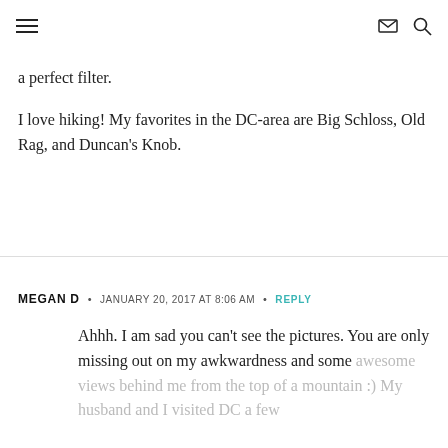Navigation header with hamburger menu, envelope icon, and search icon
a perfect filter.
I love hiking! My favorites in the DC-area are Big Schloss, Old Rag, and Duncan's Knob.
MEGAN D • JANUARY 20, 2017 AT 8:06 AM • REPLY
Ahhh. I am sad you can't see the pictures. You are only missing out on my awkwardness and some awesome views behind me from the top of a mountain :) My husband and I visited DC a few